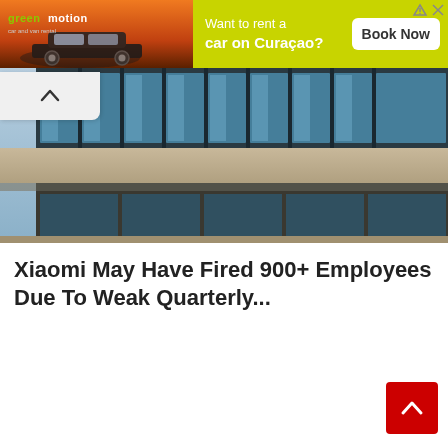[Figure (other): Green Motion car and van rental advertisement banner. Left side shows orange/sunset background with a dark SUV car and green motion logo. Right side is lime green with text 'Want to rent a car on Curaçao?' and a white 'Book Now' button.]
[Figure (photo): Photograph of a modern commercial building with large glass facade windows, blue-tinted glass panels, and a concrete overhang/canopy. A red awning or signage is partially visible at the upper left.]
Xiaomi May Have Fired 900+ Employees Due To Weak Quarterly...